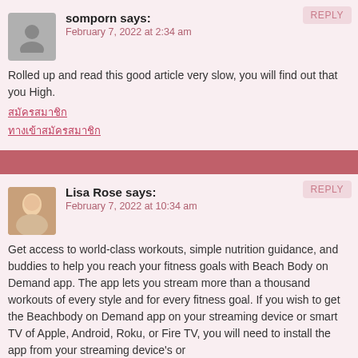REPLY
somporn says:
February 7, 2022 at 2:34 am
Rolled up and read this good article very slow, you will find out that you High.
สมัครสมาชิก
ทางเข้าสมัครสมาชิก
REPLY
Lisa Rose says:
February 7, 2022 at 10:34 am
Get access to world-class workouts, simple nutrition guidance, and buddies to help you reach your fitness goals with Beach Body on Demand app. The app lets you stream more than a thousand workouts of every style and for every fitness goal. If you wish to get the Beachbody on Demand app on your streaming device or smart TV of Apple, Android, Roku, or Fire TV, you will need to install the app from your streaming device's or